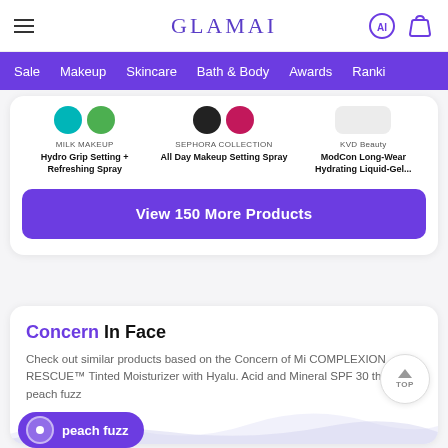GLAMAI
Sale  Makeup  Skincare  Bath & Body  Awards  Ranki...
MILK MAKEUP
Hydro Grip Setting + Refreshing Spray
SEPHORA COLLECTION
All Day Makeup Setting Spray
KVD Beauty
ModCon Long-Wear Hydrating Liquid-Gel...
View 150 More Products
Concern In Face
Check out similar products based on the Concern of Mi COMPLEXION RESCUE™ Tinted Moisturizer with Hyalu. Acid and Mineral SPF 30 that is peach fuzz
peach fuzz